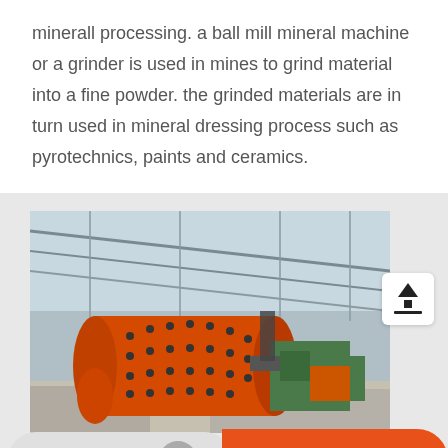minerall processing. a ball mill mineral machine or a grinder is used in mines to grind material into a fine powder. the grinded materials are in turn used in mineral dressing process such as pyrotechnics, paints and ceramics.
[Figure (photo): Photo of a large orange ball mill machine inside an industrial warehouse with metal roof structure. Green machinery visible in the background.]